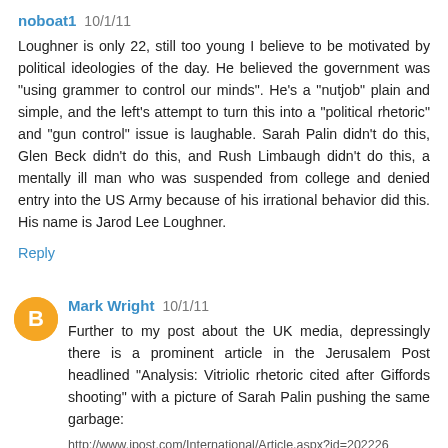noboat1  10/1/11
Loughner is only 22, still too young I believe to be motivated by political ideologies of the day. He believed the government was "using grammer to control our minds". He's a "nutjob" plain and simple, and the left's attempt to turn this into a "political rhetoric" and "gun control" issue is laughable. Sarah Palin didn't do this, Glen Beck didn't do this, and Rush Limbaugh didn't do this, a mentally ill man who was suspended from college and denied entry into the US Army because of his irrational behavior did this. His name is Jarod Lee Loughner.
Reply
Mark Wright  10/1/11
Further to my post about the UK media, depressingly there is a prominent article in the Jerusalem Post headlined "Analysis: Vitriolic rhetoric cited after Giffords shooting" with a picture of Sarah Palin pushing the same garbage:
http://www.jpost.com/International/Article.aspx?id=202226